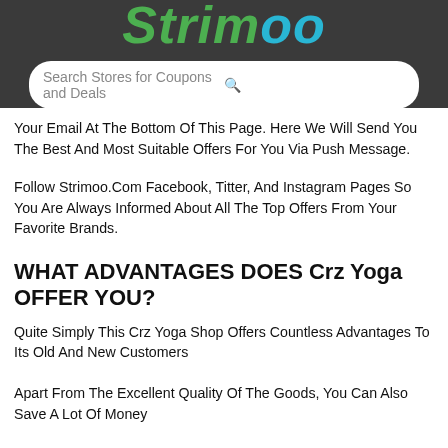Strimoo
Your Email At The Bottom Of This Page. Here We Will Send You The Best And Most Suitable Offers For You Via Push Message.
Follow Strimoo.Com Facebook, Titter, And Instagram Pages So You Are Always Informed About All The Top Offers From Your Favorite Brands.
WHAT ADVANTAGES DOES Crz Yoga OFFER YOU?
Quite Simply This Crz Yoga Shop Offers Countless Advantages To Its Old And New Customers
Apart From The Excellent Quality Of The Goods, You Can Also Save A Lot Of Money